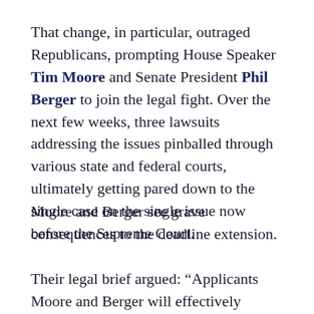That change, in particular, outraged Republicans, prompting House Speaker Tim Moore and Senate President Phil Berger to join the legal fight. Over the next few weeks, three lawsuits addressing the issues pinballed through various state and federal courts, ultimately getting pared down to the single case on the single issue now before the Supreme Court.
Moore and Berger see grave consequences to the deadline extension.
Their legal brief argued: “Applicants Moore and Berger will effectively enable, even if the